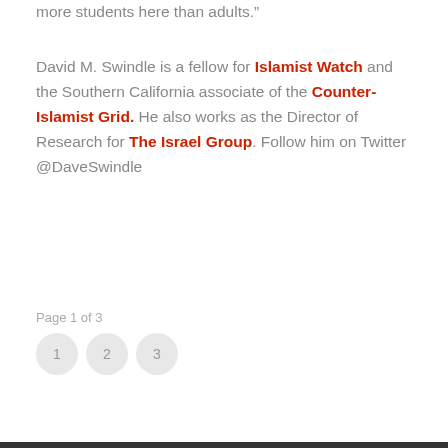more students here than adults.”
David M. Swindle is a fellow for Islamist Watch and the Southern California associate of the Counter-Islamist Grid. He also works as the Director of Research for The Israel Group. Follow him on Twitter @DaveSwindle
Page 1 of 3